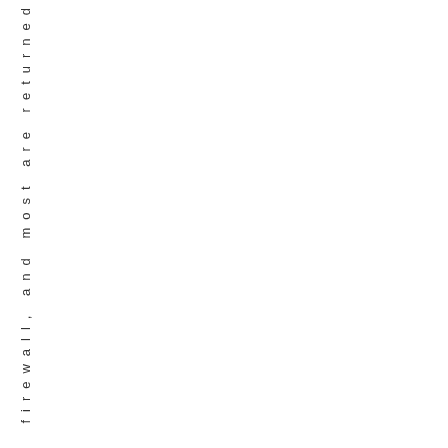firewall, and most are returned